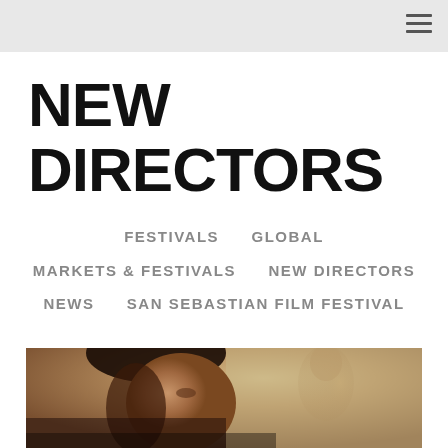NEW DIRECTORS
FESTIVALS   GLOBAL   MARKETS & FESTIVALS   NEW DIRECTORS   NEWS   SAN SEBASTIAN FILM FESTIVAL
[Figure (photo): A woman in profile/three-quarter view looking upward, another person blurred in the background, warm sepia/golden tones, indoor setting]